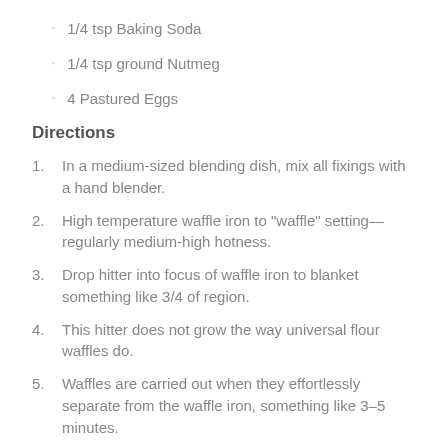1/4 tsp Baking Soda
1/4 tsp ground Nutmeg
4 Pastured Eggs
Directions
1. In a medium-sized blending dish, mix all fixings with a hand blender.
2. High temperature waffle iron to "waffle" setting—regularly medium-high hotness.
3. Drop hitter into focus of waffle iron to blanket something like 3/4 of region.
4. This hitter does not grow the way universal flour waffles do.
5. Waffles are carried out when they effortlessly separate from the waffle iron, something like 3–5 minutes.
6. For the toppingheat coconut oil in a nonstick skillet on medium high temperature.